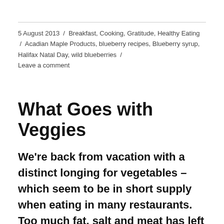5 August 2013 / Breakfast, Cooking, Gratitude, Healthy Eating / Acadian Maple Products, blueberry recipes, Blueberry syrup, Halifax Natal Day, wild blueberries / Leave a comment
What Goes with Veggies
We're back from vacation with a distinct longing for vegetables – which seem to be in short supply when eating in many restaurants. Too much fat, salt and meat has left us hungry for fresh food. As luck would have it, our veggie garden has run rampant, so we have a surfeit of